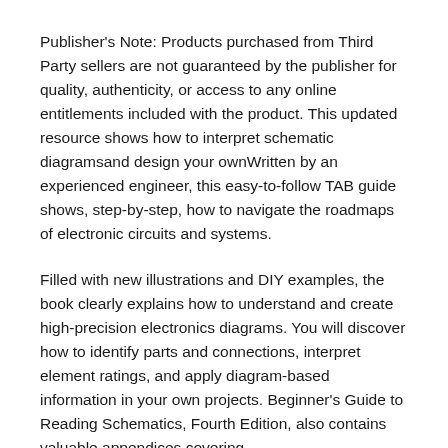Publisher's Note: Products purchased from Third Party sellers are not guaranteed by the publisher for quality, authenticity, or access to any online entitlements included with the product. This updated resource shows how to interpret schematic diagramsand design your ownWritten by an experienced engineer, this easy-to-follow TAB guide shows, step-by-step, how to navigate the roadmaps of electronic circuits and systems.
Filled with new illustrations and DIY examples, the book clearly explains how to understand and create high-precision electronics diagrams. You will discover how to identify parts and connections, interpret element ratings, and apply diagram-based information in your own projects. Beginner's Guide to Reading Schematics, Fourth Edition, also contains valuable appendices covering